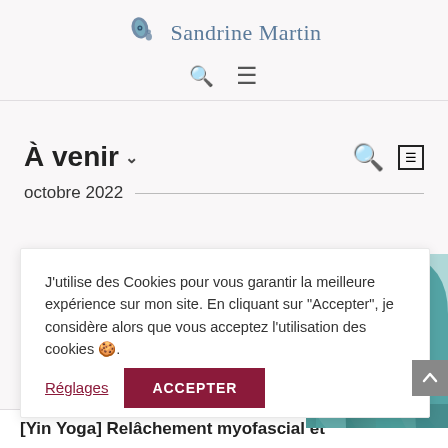[Figure (logo): Sandrine Martin logo with peacock-style icon and text]
🔍 ≡
À venir ∨
octobre 2022
J'utilise des Cookies pour vous garantir la meilleure expérience sur mon site. En cliquant sur "Accepter", je considère alors que vous acceptez l'utilisation des cookies 🍪.
Réglages  ACCEPTER
[Figure (photo): Person in teal/turquoise fabric or clothing, close-up detail]
[Yin Yoga] Relâchement myofascial et